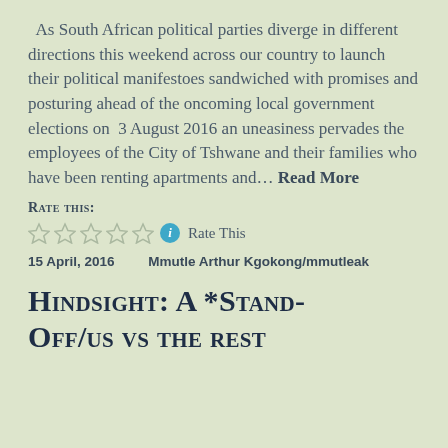As South African political parties diverge in different directions this weekend across our country to launch their political manifestoes sandwiched with promises and posturing ahead of the oncoming local government elections on  3 August 2016 an uneasiness pervades the employees of the City of Tshwane and their families who have been renting apartments and… Read More
Rate this:
☆☆☆☆☆ ℹ Rate This
15 April, 2016    Mmutle Arthur Kgokong/mmutleak
Hindsight: A *Stand-Off/us vs the rest